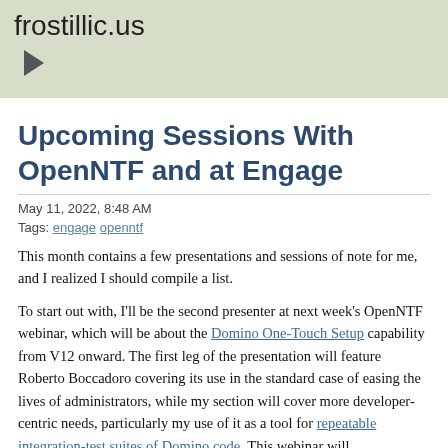frostillic.us
Upcoming Sessions With OpenNTF and at Engage
May 11, 2022, 8:48 AM
Tags: engage openntf
This month contains a few presentations and sessions of note for me, and I realized I should compile a list.
To start out with, I'll be the second presenter at next week's OpenNTF webinar, which will be about the Domino One-Touch Setup capability from V12 onward. The first leg of the presentation will feature Roberto Boccadoro covering its use in the standard case of easing the lives of administrators, while my section will cover more developer-centric needs, particularly my use of it as a tool for repeatable integration-test suites of Domino code. This webinar will